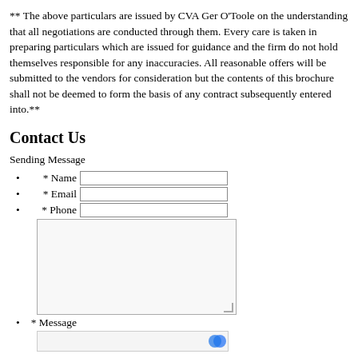** The above particulars are issued by CVA Ger O'Toole on the understanding that all negotiations are conducted through them. Every care is taken in preparing particulars which are issued for guidance and the firm do not hold themselves responsible for any inaccuracies. All reasonable offers will be submitted to the vendors for consideration but the contents of this brochure shall not be deemed to form the basis of any contract subsequently entered into.**
Contact Us
Sending Message
* Name [input field]
* Email [input field]
* Phone [input field]
* Message [textarea]